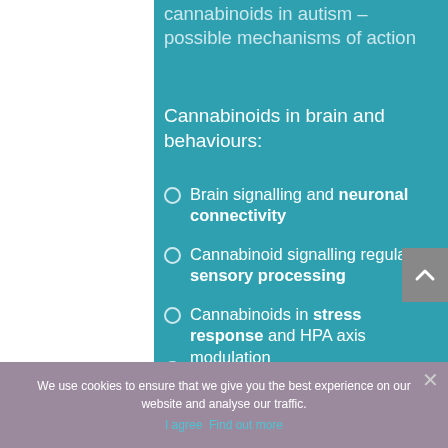cannabinoids in autism – possible mechanisms of action
Cannabinoids in brain and behaviours:
Brain signalling and neuronal connectivity
Cannabinoid signalling regulates sensory processing
Cannabinoids in stress response and HPA axis modulation
Importance of ECS in motor
We use cookies to ensure that we give you the best experience on our website and analyse our traffic.
I agree  Find out more